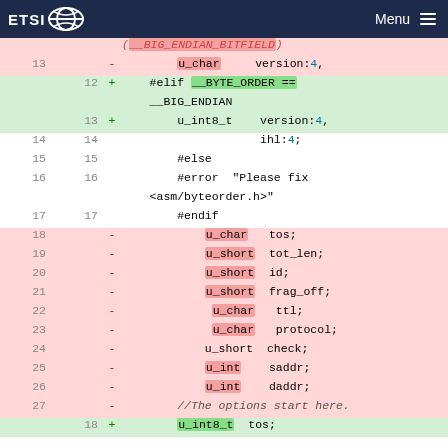ETSI   Menu
[Figure (screenshot): Code diff view showing C header file modifications with line numbers, removed lines (pink) and added lines (green), including u_char/u_int8_t version fields and struct members like tos, tot_len, id, frag_off, ttl, protocol, check, saddr, daddr]